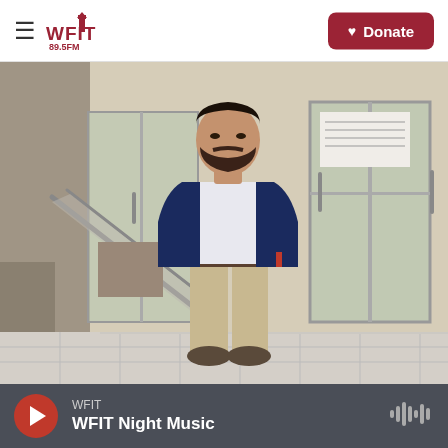WFIT 89.5FM | Donate
[Figure (photo): Man in navy blazer and khaki pants standing in front of a building entrance with glass doors and a wheelchair ramp]
WFIT | WFIT Night Music